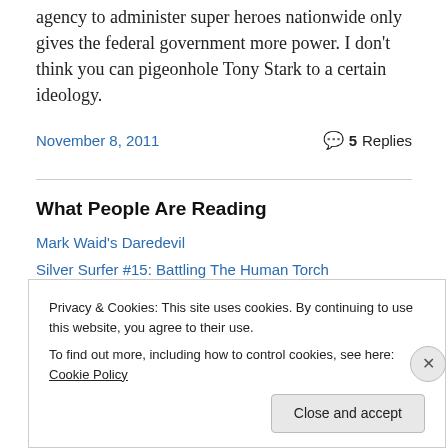agency to administer super heroes nationwide only gives the federal government more power. I don't think you can pigeonhole Tony Stark to a certain ideology.
November 8, 2011   5 Replies
What People Are Reading
Mark Waid's Daredevil
Silver Surfer #15: Battling The Human Torch
X-Factor #84
Privacy & Cookies: This site uses cookies. By continuing to use this website, you agree to their use. To find out more, including how to control cookies, see here: Cookie Policy